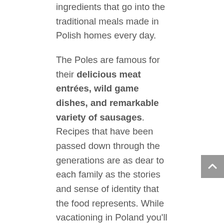ingredients that go into the traditional meals made in Polish homes every day.
The Poles are famous for their delicious meat entrées, wild game dishes, and remarkable variety of sausages. Recipes that have been passed down through the generations are as dear to each family as the stories and sense of identity that the food represents. While vacationing in Poland you'll also discover and come to love a diverse array of whole-grain breads, savory soups, delectable appetizers, recipes including wild mushrooms and berries, fresh salads, and fabulous desserts.
REGIONAL SPECIALTIES
From the Baltic coast in the northwest to the